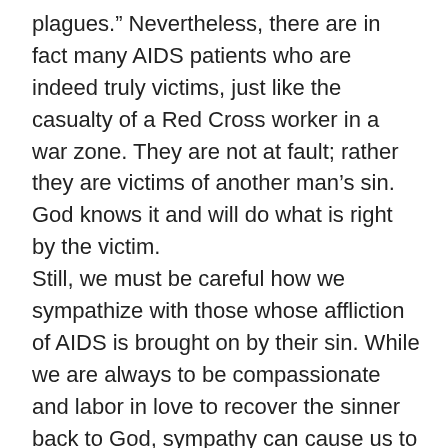plagues.” Nevertheless, there are in fact many AIDS patients who are indeed truly victims, just like the casualty of a Red Cross worker in a war zone. They are not at fault; rather they are victims of another man’s sin. God knows it and will do what is right by the victim. Still, we must be careful how we sympathize with those whose affliction of AIDS is brought on by their sin. While we are always to be compassionate and labor in love to recover the sinner back to God, sympathy can cause us to feel that their affliction is unfair. Remember, God in His righteousness has rewarded the sinner according to their sin. To side with the sinner in feeling that their “reward” is unfair would foolishly put us in the position of judging God. With God there is no “fair” or “unfair,” only justice and mercy. Let us always be compassionate to all men, but let us reserve our sympathy for the true victims of the HIV